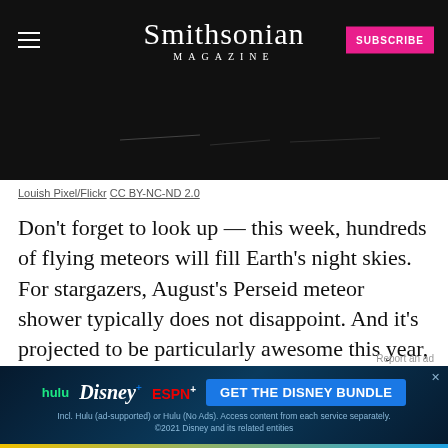Smithsonian MAGAZINE
[Figure (photo): Dark/black image strip showing a night sky scene, partially visible]
Louish Pixel/Flickr CC BY-NC-ND 2.0
Don't forget to look up — this week, hundreds of flying meteors will fill Earth's night skies. For stargazers, August's Perseid meteor shower typically does not disappoint. And it's projected to be particularly awesome this year, the BBC reports
[Figure (screenshot): Disney Bundle advertisement banner featuring Hulu, Disney+, ESPN+ logos and 'GET THE DISNEY BUNDLE' call-to-action button]